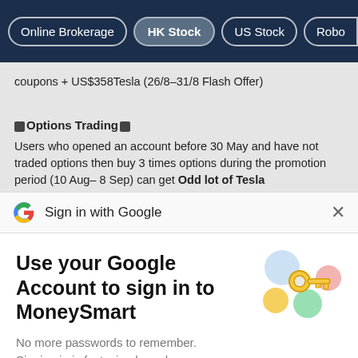Online Brokerage | HK Stock | US Stock | Robo
coupons + US$358Tesla (26/8–31/8 Flash Offer)
🔷Options Trading🔷
Users who opened an account before 30 May and have not traded options then buy 3 times options during the promotion period (10 Aug– 8 Sep) can get Odd lot of Tesla option US$0 (let + condition the Some Retu...
Sign in with Google
Use your Google Account to sign in to MoneySmart
[Figure (illustration): Google sign-in key illustration with colorful circles and a gold key]
No more passwords to remember.
Signing in is fast, simple and secure.
Continue